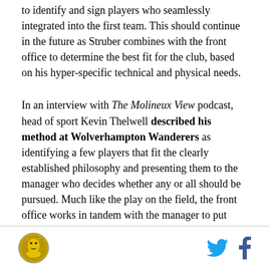to identify and sign players who seamlessly integrated into the first team. This should continue in the future as Struber combines with the front office to determine the best fit for the club, based on his hyper-specific technical and physical needs.
In an interview with The Molineux View podcast, head of sport Kevin Thelwell described his method at Wolverhampton Wanderers as identifying a few players that fit the clearly established philosophy and presenting them to the manager who decides whether any or all should be pursued. Much like the play on the field, the front office works in tandem with the manager to put together the best roster it can, which benefits from a defined style of play and roles for every
[logo] [twitter] [facebook]